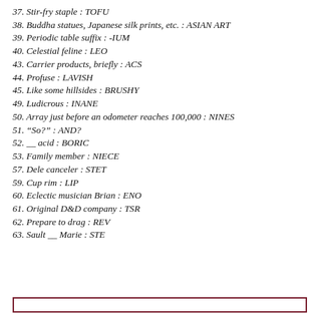37. Stir-fry staple : TOFU
38. Buddha statues, Japanese silk prints, etc. : ASIAN ART
39. Periodic table suffix : -IUM
40. Celestial feline : LEO
43. Carrier products, briefly : ACS
44. Profuse : LAVISH
45. Like some hillsides : BRUSHY
49. Ludicrous : INANE
50. Array just before an odometer reaches 100,000 : NINES
51. “So?” : AND?
52. __ acid : BORIC
53. Family member : NIECE
57. Dele canceler : STET
59. Cup rim : LIP
60. Eclectic musician Brian : ENO
61. Original D&D company : TSR
62. Prepare to drag : REV
63. Sault __ Marie : STE